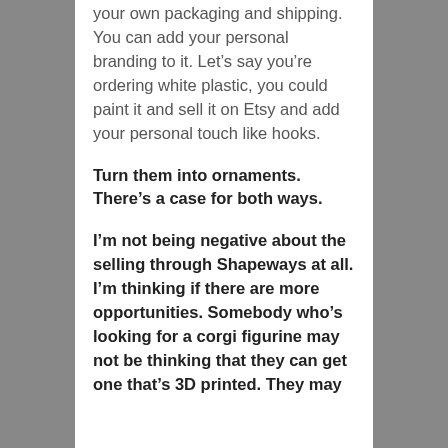your own packaging and shipping. You can add your personal branding to it. Let’s say you’re ordering white plastic, you could paint it and sell it on Etsy and add your personal touch like hooks.
Turn them into ornaments. There’s a case for both ways.
I’m not being negative about the selling through Shapeways at all. I’m thinking if there are more opportunities. Somebody who’s looking for a corgi figurine may not be thinking that they can get one that’s 3D printed. They may not think to go to Shapeways.